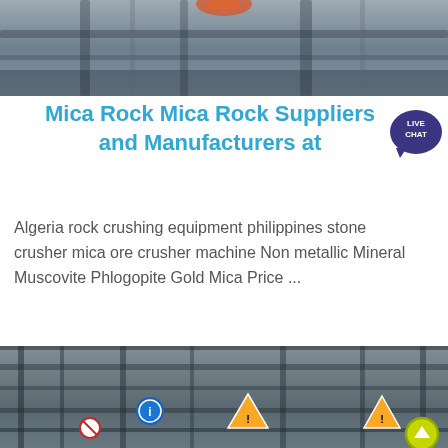[Figure (photo): Industrial rock crushing/mining machinery equipment, top cropped view showing metal structures with orange/red accent, gray tones]
Mica Rock Mica Rock Suppliers and Manufacturers at
[Figure (other): Live Chat badge — dark blue circular icon with speech bubble tail, white text LIVE CHAT]
Algeria rock crushing equipment philippines stone crusher mica ore crusher machine Non metallic Mineral Muscovite Phlogopite Gold Mica Price ...
[Figure (photo): Industrial rock crushing machine with metal cage/frame structure, safety warning signs visible (blue mandatory, yellow hazard triangles, red prohibition signs), bottom portion of page]